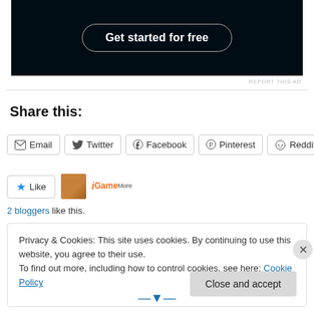[Figure (screenshot): Dark banner with 'Get started for free' button in rounded rectangle outline]
REPORT THIS AD
Share this:
Email  Twitter  Facebook  Pinterest  Reddit
Like  [avatar image]  [iGameMore logo]
2 bloggers like this.
Privacy & Cookies: This site uses cookies. By continuing to use this website, you agree to their use.
To find out more, including how to control cookies, see here: Cookie Policy
Close and accept